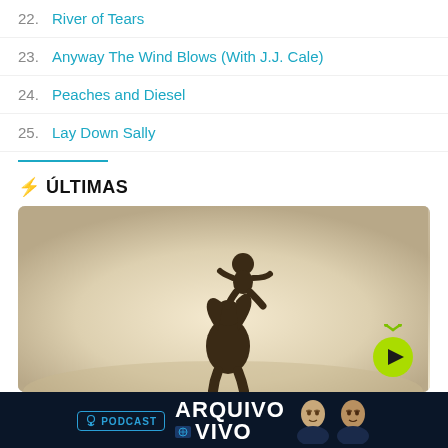22. River of Tears
23. Anyway The Wind Blows (With J.J. Cale)
24. Peaches and Diesel
25. Lay Down Sally
ÚLTIMAS
[Figure (photo): Silhouette of a person lifting a child up against a bright sky background, with a green circular play button in the bottom-right corner]
[Figure (infographic): Dark banner advertisement for 'Arquivo Vivo' podcast featuring two men in suits and a microphone icon]